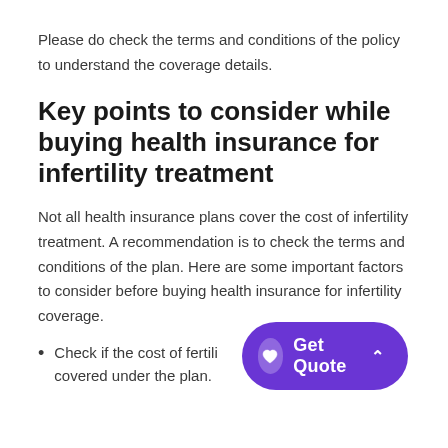Please do check the terms and conditions of the policy to understand the coverage details.
Key points to consider while buying health insurance for infertility treatment
Not all health insurance plans cover the cost of infertility treatment. A recommendation is to check the terms and conditions of the plan. Here are some important factors to consider before buying health insurance for infertility coverage.
Check if the cost of fertility treatment is covered under the plan.